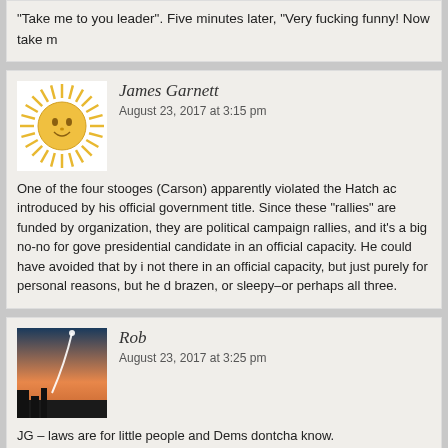“Take me to you leader”. Five minutes later, “Very fucking funny! Now take m
James Garnett
August 23, 2017 at 3:15 pm
One of the four stooges (Carson) apparently violated the Hatch ac introduced by his official government title. Since these “rallies” are funded by organization, they are political campaign rallies, and it’s a big no-no for gove presidential candidate in an official capacity. He could have avoided that by i not there in an official capacity, but just purely for personal reasons, but he d brazen, or sleepy–or perhaps all three.
Rob
August 23, 2017 at 3:25 pm
JG – laws are for little people and Dems dontcha know.
Ben
August 23, 2017 at 3:31 pm